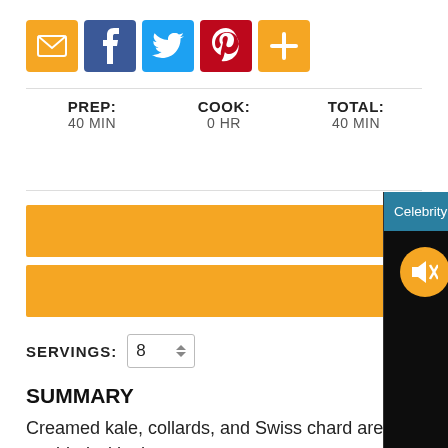[Figure (other): Social sharing icon buttons: email (orange), Facebook (blue), Twitter (light blue), Pinterest (red), plus/more (orange)]
| PREP: | COOK: | TOTAL: |
| --- | --- | --- |
| 40 MIN | 0 HR | 40 MIN |
[Figure (other): Two orange horizontal bars (representing hidden content/buttons)]
SERVINGS: 8
[Figure (screenshot): Video popup overlay with teal header reading 'Celebrity Chef Giada De Laurentiis on La...' with X close button, black video area with muted (orange circle with speaker-off icon) and teal loading spinner arc]
SUMMARY
Creamed kale, collards, and Swiss chard are studded with chestnuts.